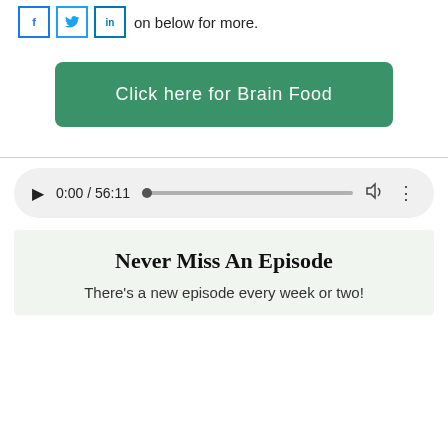click the button below for more.
[Figure (screenshot): Green button labeled 'Click here for Brain Food']
[Figure (screenshot): Audio player showing 0:00 / 56:11 with play button, progress bar, volume icon, and more options icon]
Never Miss An Episode
There's a new episode every week or two!